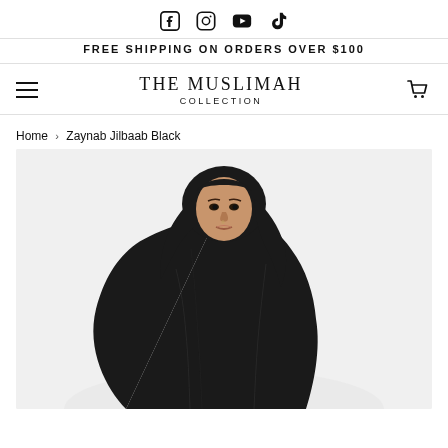Social icons: Facebook, Instagram, YouTube, TikTok
FREE SHIPPING ON ORDERS OVER $100
THE MUSLIMAH COLLECTION
Home › Zaynab Jilbaab Black
[Figure (photo): A woman wearing a black jilbaab and hijab, photographed against a light grey/white background, shown from roughly the waist up, looking slightly to the side.]